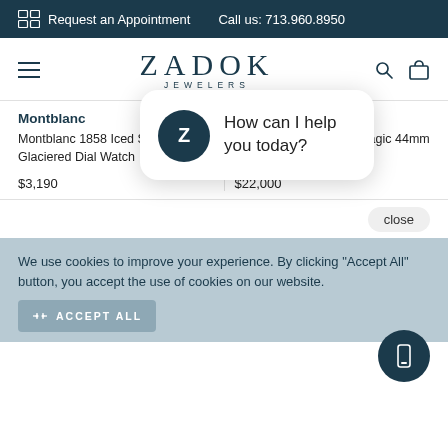Request an Appointment   Call us: 713.960.8950
[Figure (logo): Zadok Jewelers logo with hamburger menu, search and bag icons]
Montblanc
Montblanc 1858 Iced Sea Black Glaciered Dial Watch
$3,190
Hublot
Big Bang Unico Black Magic 44mm Watch
$22,000
[Figure (screenshot): Chat popup with Z avatar and text: How can I help you today?]
We use cookies to improve your experience. By clicking "Accept All" button, you accept the use of cookies on our website.
ACCEPT ALL